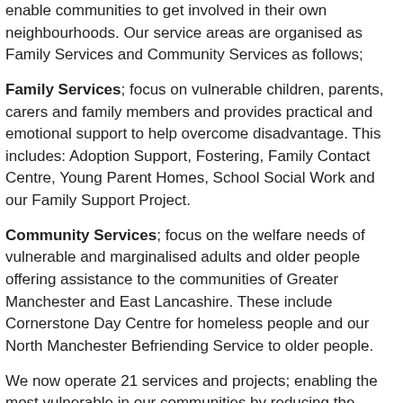enable communities to get involved in their own neighbourhoods. Our service areas are organised as Family Services and Community Services as follows;
Family Services; focus on vulnerable children, parents, carers and family members and provides practical and emotional support to help overcome disadvantage. This includes: Adoption Support, Fostering, Family Contact Centre, Young Parent Homes, School Social Work and our Family Support Project.
Community Services; focus on the welfare needs of vulnerable and marginalised adults and older people offering assistance to the communities of Greater Manchester and East Lancashire. These include Cornerstone Day Centre for homeless people and our North Manchester Befriending Service to older people.
We now operate 21 services and projects; enabling the most vulnerable in our communities by reducing the social barriers they face and empowering them to fulfil their potential.